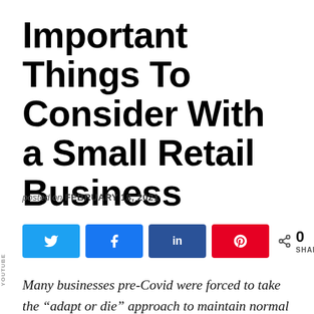Important Things To Consider With a Small Retail Business
posted on FEBRUARY 18, 2021
[Figure (infographic): Social share buttons: Twitter (blue), Facebook (blue), LinkedIn (dark blue), Pinterest (red), and a share count showing 0 SHARES]
Many businesses pre-Covid were forced to take the “adapt or die” approach to maintain normal numbers in this new, uncertain period. Other people used their time at home to take an